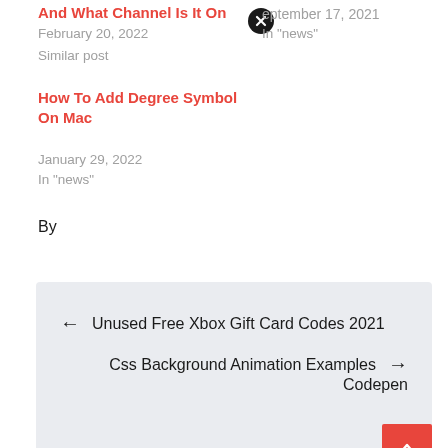And What Channel Is It On
February 20, 2022
Similar post
September 17, 2021
In "news"
How To Add Degree Symbol On Mac
January 29, 2022
In "news"
By
← Unused Free Xbox Gift Card Codes 2021
Css Background Animation Examples Codepen →